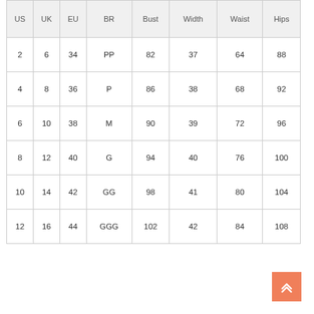| US | UK | EU | BR | Bust | Width | Waist | Hips |
| --- | --- | --- | --- | --- | --- | --- | --- |
| 2 | 6 | 34 | PP | 82 | 37 | 64 | 88 |
| 4 | 8 | 36 | P | 86 | 38 | 68 | 92 |
| 6 | 10 | 38 | M | 90 | 39 | 72 | 96 |
| 8 | 12 | 40 | G | 94 | 40 | 76 | 100 |
| 10 | 14 | 42 | GG | 98 | 41 | 80 | 104 |
| 12 | 16 | 44 | GGG | 102 | 42 | 84 | 108 |